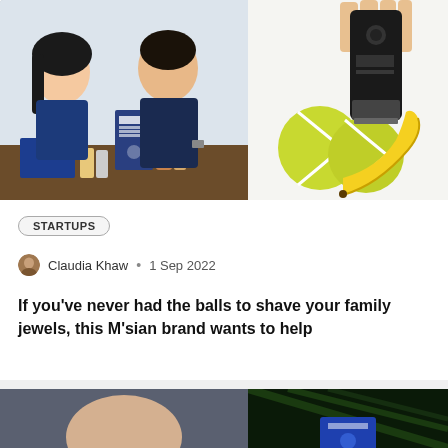[Figure (photo): Two young Asian entrepreneurs (woman on left, man on right) sitting at a table with grooming products and blue branded boxes in front of them. Office/studio background.]
[Figure (photo): A hand holding a black electric body hair trimmer/groomer above two yellow-green tennis balls and a banana on a white background — humorous visual metaphor for male grooming.]
STARTUPS
Claudia Khaw • 1 Sep 2022
If you've never had the balls to shave your family jewels, this M'sian brand wants to help
[Figure (photo): Partial view of a bald/shaved head of a person, bottom of page.]
[Figure (photo): Dark green background with partial view of a blue square logo element, bottom of page.]